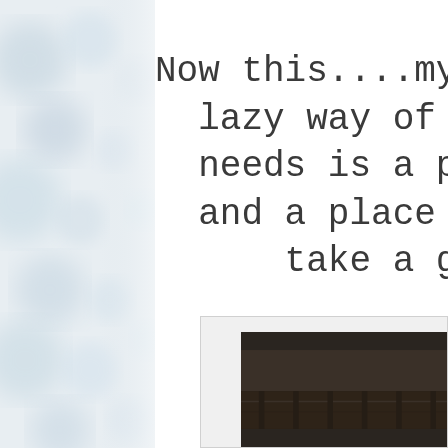[Figure (illustration): Blurred bokeh-style decorative background on the left side of the page, with soft circular light shapes in light blue, grey, and white tones.]
Now this....my frie lazy way of fishin needs is a pole, a and a place near t take a goo
[Figure (photo): Partial photo visible at the bottom of the page, appearing to show a dark outdoor scene, likely related to fishing.]